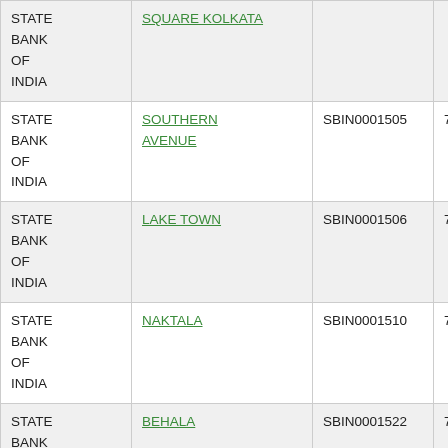| Bank Name | Branch | IFSC Code | MICR Code |
| --- | --- | --- | --- |
| STATE BANK OF INDIA | SQUARE KOLKATA |  |  |
| STATE BANK OF INDIA | SOUTHERN AVENUE | SBIN0001505 | 700002095 |
| STATE BANK OF INDIA | LAKE TOWN | SBIN0001506 | 700002133 |
| STATE BANK OF INDIA | NAKTALA | SBIN0001510 | 700002068 |
| STATE BANK OF INDIA | BEHALA | SBIN0001522 | 700002115 |